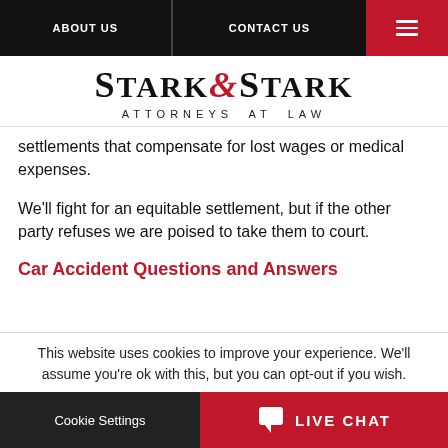ABOUT US | CONTACT US
[Figure (logo): Stark & Stark Attorneys at Law logo]
settlements that compensate for lost wages or medical expenses.
We'll fight for an equitable settlement, but if the other party refuses we are poised to take them to court.
Car Accident Questions and Answers
This website uses cookies to improve your experience. We'll assume you're ok with this, but you can opt-out if you wish.
Cookie Settings | LIVE CHAT